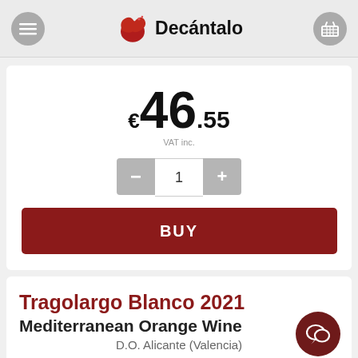Decántalo
€46.55 VAT inc.
1
BUY
Tragolargo Blanco 2021
Mediterranean Orange Wine
D.O. Alicante (Valencia)